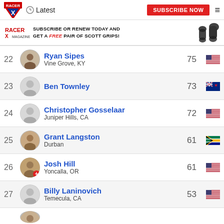Latest | SUBSCRIBE NOW
SUBSCRIBE OR RENEW TODAY AND GET A FREE PAIR OF SCOTT GRIPS!
22 Ryan Sipes, Vine Grove, KY — 75
23 Ben Townley — 73
24 Christopher Gosselaar, Juniper Hills, CA — 72
25 Grant Langston, Durban — 61
26 Josh Hill, Yoncalla, OR — 61
27 Billy Laninovich, Temecula, CA — 53